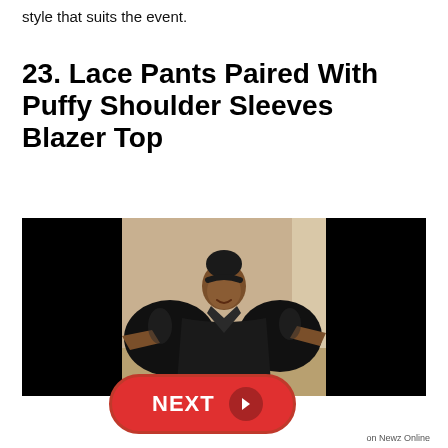style that suits the event.
23. Lace Pants Paired With Puffy Shoulder Sleeves Blazer Top
[Figure (photo): Woman wearing a black satin puffy-shoulder-sleeve blazer top with hair up in a bun, smiling, posing with arms outstretched. Black borders on left and right side of the image.]
NEXT